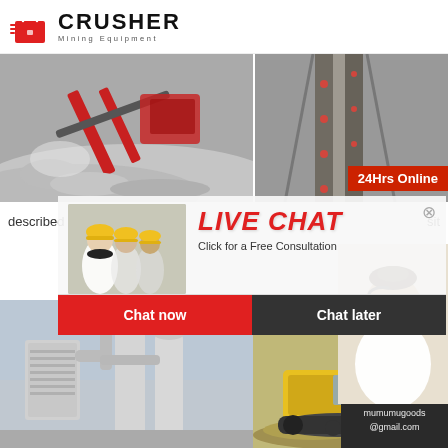[Figure (logo): CRUSHER Mining Equipment logo with red shopping bag icon and bold black text]
[Figure (photo): Mining crusher equipment with conveyor belt and gravel/rock, industrial setting]
[Figure (photo): Aerial view of conveyor belt with mining material, industrial setting]
24Hrs Online
described d...
sit...
More
[Figure (screenshot): LIVE CHAT popup overlay with workers in hard hats, 'Click for a Free Consultation', Chat now and Chat later buttons, and customer service representative on right]
[Figure (photo): Dust collection / industrial milling equipment, white cylindrical silos and pipes]
[Figure (photo): Yellow mining excavator/crusher machinery with rocks]
Need questions & suggestion?
Chat Now
Enquiry
mumumugoods@gmail.com